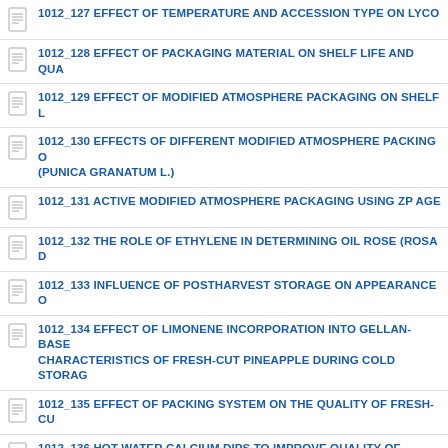1012_127 EFFECT OF TEMPERATURE AND ACCESSION TYPE ON LYCO...
1012_128 EFFECT OF PACKAGING MATERIAL ON SHELF LIFE AND QUA...
1012_129 EFFECT OF MODIFIED ATMOSPHERE PACKAGING ON SHELF L...
1012_130 EFFECTS OF DIFFERENT MODIFIED ATMOSPHERE PACKING O... (PUNICA GRANATUM L.)
1012_131 ACTIVE MODIFIED ATMOSPHERE PACKAGING USING ZP AGE...
1012_132 THE ROLE OF ETHYLENE IN DETERMINING OIL ROSE (ROSA D...
1012_133 INFLUENCE OF POSTHARVEST STORAGE ON APPEARANCE O...
1012_134 EFFECT OF LIMONENE INCORPORATION INTO GELLAN-BASE... CHARACTERISTICS OF FRESH-CUT PINEAPPLE DURING COLD STORAG...
1012_135 EFFECT OF PACKING SYSTEM ON THE QUALITY OF FRESH-CU...
1012_136 HOT WATER CALCIUM DIPS TO IMPROVE QUALITY OF FRESH-...
1012_137 EVALUATION OF THE BROWNING ACTIVITY OF FRESH CUT PI...